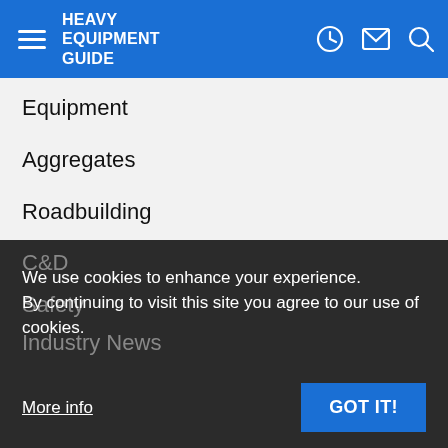HEAVY EQUIPMENT GUIDE
Equipment
Aggregates
Roadbuilding
Cranes & Lift
Trucks
Technology
Concrete
C&D
Safety
Industry News
We use cookies to enhance your experience. By continuing to visit this site you agree to our use of cookies.
More info
GOT IT!